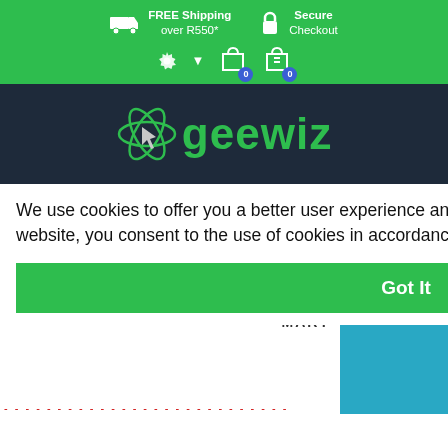FREE Shipping over R550*   Secure Checkout
[Figure (logo): Geewiz logo with atom-like symbol on dark navy background]
We use cookies to offer you a better user experience and analyse site traffic. By continuing to use this website, you consent to the use of cookies in accordance with our Privacy Policy Learn More
Got It
Sign In
MART
In Road